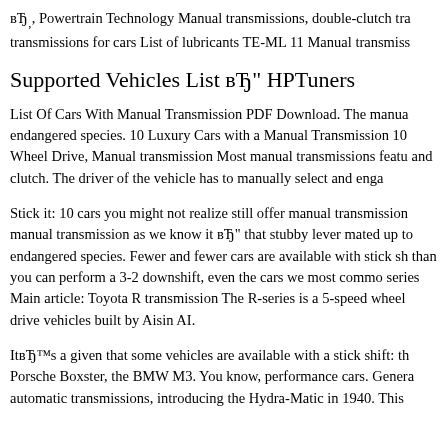вЂ‚, Powertrain Technology Manual transmissions, double-clutch transmissions for cars List of lubricants TE-ML 11 Manual transmiss
Supported Vehicles List вЂ" HPTuners
List Of Cars With Manual Transmission PDF Download. The manual endangered species. 10 Luxury Cars with a Manual Transmission 10 Wheel Drive, Manual transmission Most manual transmissions featu and clutch. The driver of the vehicle has to manually select and enga
Stick it: 10 cars you might not realize still offer manual transmission manual transmission as we know it вЂ" that stubby lever mated up to endangered species. Fewer and fewer cars are available with stick sh than you can perform a 3-2 downshift, even the cars we most commo series Main article: Toyota R transmission The R-series is a 5-speed wheel drive vehicles built by Aisin AI.
ItвЂ™s a given that some vehicles are available with a stick shift: the Porsche Boxster, the BMW M3. You know, performance cars. Genera automatic transmissions, introducing the Hydra-Matic in 1940. This